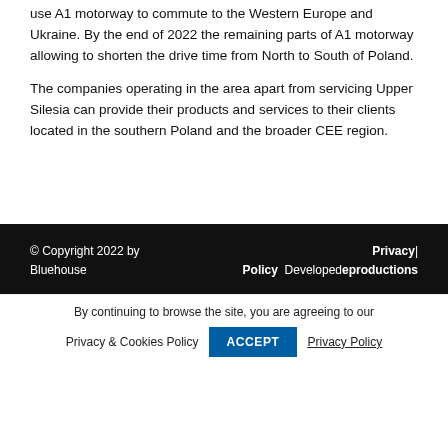use A1 motorway to commute to the Western Europe and Ukraine. By the end of 2022 the remaining parts of A1 motorway allowing to shorten the drive time from North to South of Poland.
The companies operating in the area apart from servicing Upper Silesia can provide their products and services to their clients located in the southern Poland and the broader CEE region.
© Copyright 2022 by Bluehouse  |  Privacy Policy  Developedeproductions
By continuing to browse the site, you are agreeing to our Privacy & Cookies Policy  ACCEPT  Privacy Policy